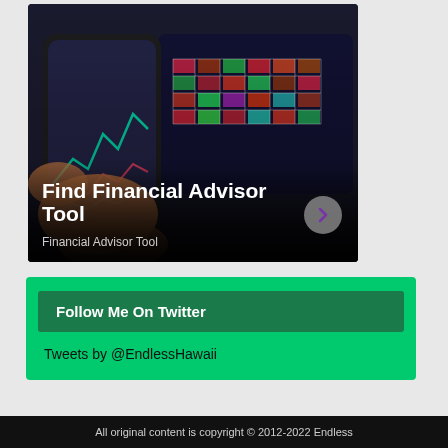[Figure (photo): Person holding a smartphone showing stock market charts, with a tablet displaying a colorful financial heat map grid in the background. Dark background with overlay text.]
Find Financial Advisor Tool
Financial Advisor Tool
Follow Me On Twitter
Tweets by @EndlessHawaii
All original content is copyright © 2012-2022 Endless